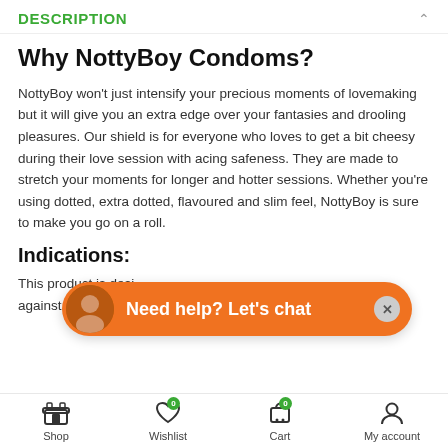DESCRIPTION
Why NottyBoy Condoms?
NottyBoy won't just intensify your precious moments of lovemaking but it will give you an extra edge over your fantasies and drooling pleasures. Our shield is for everyone who loves to get a bit cheesy during their love session with acing safeness. They are made to stretch your moments for longer and hotter sessions. Whether you're using dotted, extra dotted, flavoured and slim feel, NottyBoy is sure to make you go on a roll.
Indications:
This product is desi… against sexually tra…
[Figure (other): Orange chat widget with avatar and text 'Need help? Let's chat' with close button]
Shop  Wishlist 0  Cart 0  My account